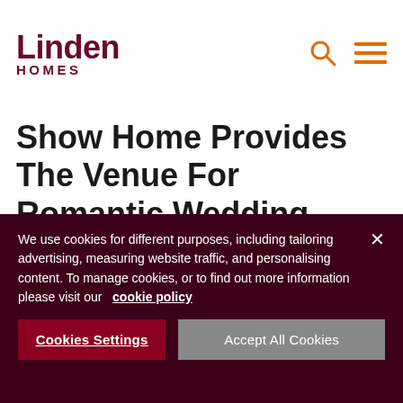[Figure (logo): Linden Homes logo in dark red/maroon color, with 'Linden' in large bold text and 'HOMES' in smaller bold spaced caps beneath it]
[Figure (illustration): Orange search icon (magnifying glass) and orange hamburger menu icon in the top right header area]
Show Home Provides The Venue For Romantic Wedding Proposal
21 May 2019
We use cookies for different purposes, including tailoring advertising, measuring website traffic, and personalising content. To manage cookies, or to find out more information please visit our   cookie policy
Cookies Settings
Accept All Cookies